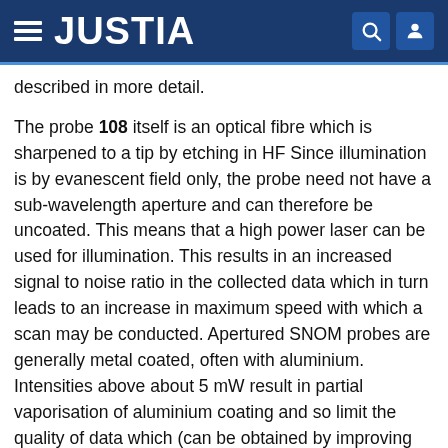JUSTIA
described in more detail.
The probe 108 itself is an optical fibre which is sharpened to a tip by etching in HF Since illumination is by evanescent field only, the probe need not have a sub-wavelength aperture and can therefore be uncoated. This means that a high power laser can be used for illumination. This results in an increased signal to noise ratio in the collected data which in turn leads to an increase in maximum speed with which a scan may be conducted. Apertured SNOM probes are generally metal coated, often with aluminium. Intensities above about 5 mW result in partial vaporisation of aluminium coating and so limit the quality of data which (can be obtained by improving signal to noise.
The laser 98 is a DPSS 50 mW Nd:YAG from Coherent